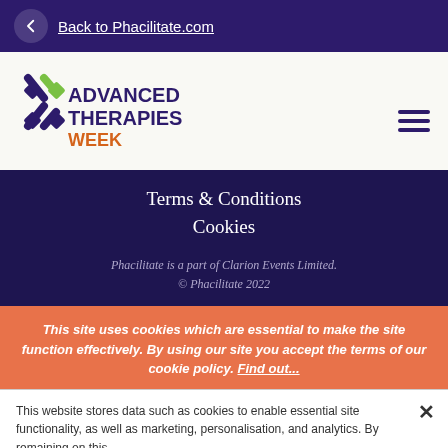Back to Phacilitate.com
[Figure (logo): Advanced Therapies Week logo with X symbol in dark purple and green, text ADVANCED THERAPIES in dark purple, WEEK in orange]
Terms & Conditions
Cookies
Phacilitate is a part of Clarion Events Limited.
© Phacilitate 2022
This site uses cookies which are essential to make the site function effectively. By using our site you accept the terms of our cookie policy. Find out...
This website stores data such as cookies to enable essential site functionality, as well as marketing, personalisation, and analytics. By remaining on this